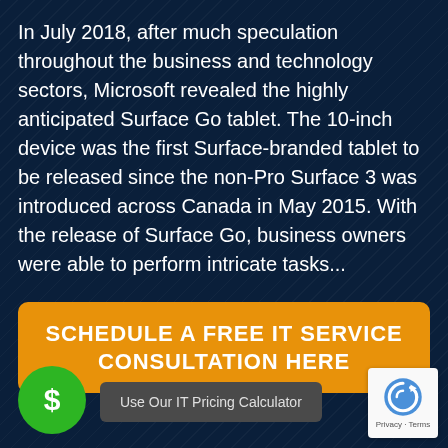In July 2018, after much speculation throughout the business and technology sectors, Microsoft revealed the highly anticipated Surface Go tablet. The 10-inch device was the first Surface-branded tablet to be released since the non-Pro Surface 3 was introduced across Canada in May 2015. With the release of Surface Go, business owners were able to perform intricate tasks...
SCHEDULE A FREE IT SERVICE CONSULTATION HERE
$ Use Our IT Pricing Calculator
[Figure (logo): reCAPTCHA logo with Privacy - Terms text]